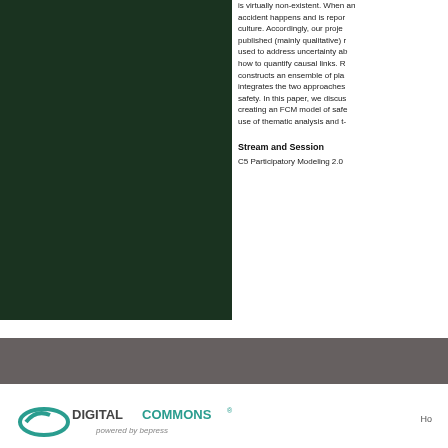[Figure (photo): Dark green rectangular image occupying left column of the page]
is virtually non-existent. When an accident happens and is reported culture. Accordingly, our project published (mainly qualitative) r used to address uncertainty ab how to quantify causal links. R constructs an ensemble of pla integrates the two approaches safety. In this paper, we discus creating an FCM model of safe use of thematic analysis and t-
Stream and Session
C5 Participatory Modeling 2.0
Ho